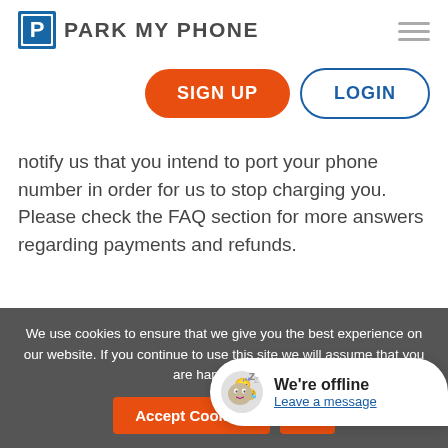[Figure (logo): Park My Phone logo: blue square with white P letter followed by text PARK MY PHONE in dark gray]
[Figure (other): Hamburger menu icon (three horizontal gray lines) in top right corner]
[Figure (other): SIGN UP button (orange rounded rectangle) and LOGIN button (white with blue border rounded rectangle)]
notify us that you intend to port your phone number in order for us to stop charging you. Please check the FAQ section for more answers regarding payments and refunds.
We use cookies to ensure that we give you the best experience on our website. If you continue to use this site we will assume that you are happy with it.
[Figure (other): Accept Cookies button and a partially visible second button, with a chat widget showing We're offline / Leave a message]